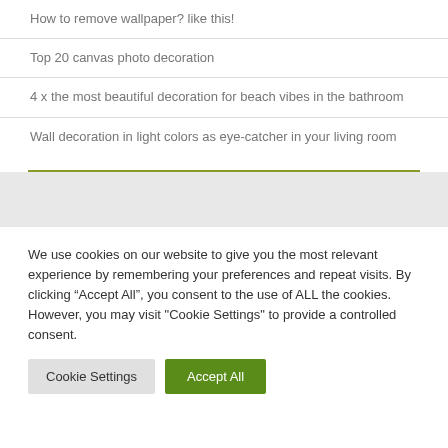How to remove wallpaper? like this!
Top 20 canvas photo decoration
4 x the most beautiful decoration for beach vibes in the bathroom
Wall decoration in light colors as eye-catcher in your living room
We use cookies on our website to give you the most relevant experience by remembering your preferences and repeat visits. By clicking “Accept All”, you consent to the use of ALL the cookies. However, you may visit "Cookie Settings" to provide a controlled consent.